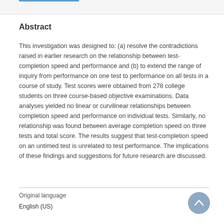Abstract
This investigation was designed to: (a) resolve the contradictions raised in earlier research on the relationship between test-completion speed and performance and (b) to extend the range of inquiry from performance on one test to performance on all tests in a course of study. Test scores were obtained from 278 college students on three course-based objective examinations. Data analyses yielded no linear or curvilinear relationships between completion speed and performance on individual tests. Similarly, no relationship was found between average completion speed on three tests and total score. The results suggest that test-completion speed on an untimed test is unrelated to test performance. The implications of these findings and suggestions for future research are discussed.
Original language
English (US)